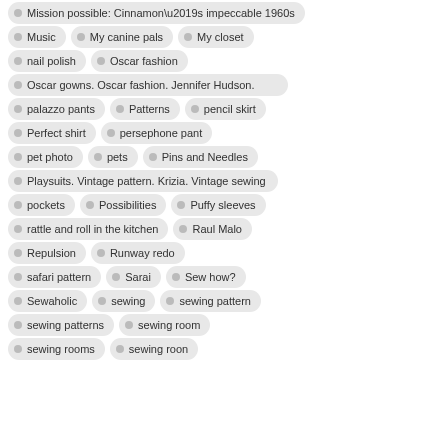Mission possible: Cinnamon’s impeccable 1960s
Music
My canine pals
My closet
nail polish
Oscar fashion
Oscar gowns. Oscar fashion. Jennifer Hudson.
palazzo pants
Patterns
pencil skirt
Perfect shirt
persephone pant
pet photo
pets
Pins and Needles
Playsuits. Vintage pattern. Krizia. Vintage sewing
pockets
Possibilities
Puffy sleeves
rattle and roll in the kitchen
Raul Malo
Repulsion
Runway redo
safari pattern
Sarai
Sew how?
Sewaholic
sewing
sewing pattern
sewing patterns
sewing room
sewing rooms
sewing roon